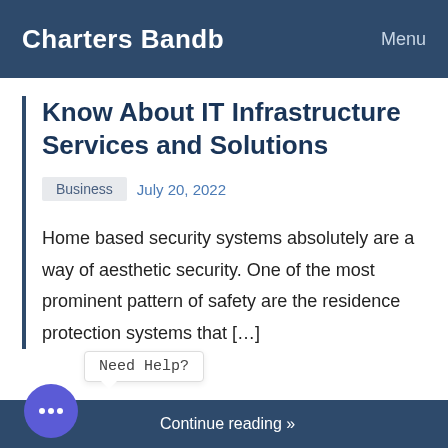Charters Bandb   Menu
Know About IT Infrastructure Services and Solutions
Business   July 20, 2022
Home based security systems absolutely are a way of aesthetic security. One of the most prominent pattern of safety are the residence protection systems that […]
Continue reading »